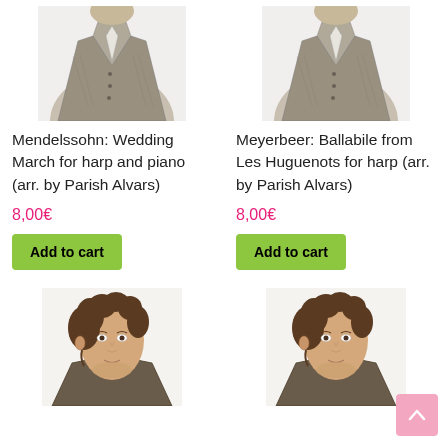[Figure (illustration): Black and white sketch portrait of Mendelssohn (headless torso in formal attire), cropped at top]
[Figure (illustration): Black and white sketch portrait of Meyerbeer (headless torso in formal attire), cropped at top]
Mendelssohn: Wedding March for harp and piano (arr. by Parish Alvars)
Meyerbeer: Ballabile from Les Huguenots for harp (arr. by Parish Alvars)
8,00€
8,00€
Add to cart
Add to cart
[Figure (illustration): Engraved portrait of a young man with curly hair in 19th century attire, left side]
[Figure (illustration): Engraved portrait of a young man with curly hair in 19th century attire, right side]